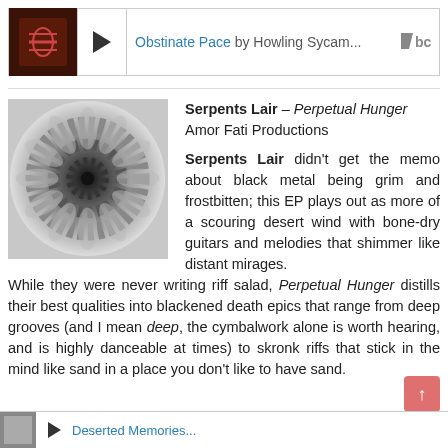[Figure (screenshot): Bandcamp music player bar showing album thumbnail, play button, track title 'Obstinate Pace' by Howling Sycam... and Bandcamp logo]
[Figure (photo): Black and white album art for Serpents Lair - Perpetual Hunger, showing a spiral/vortex pattern of scales or feathers]
Serpents Lair – Perpetual Hunger
Amor Fati Productions

Serpents Lair didn't get the memo about black metal being grim and frostbitten; this EP plays out as more of a scouring desert wind with bone-dry guitars and melodies that shimmer like distant mirages. While they were never writing riff salad, Perpetual Hunger distills their best qualities into blackened death epics that range from deep grooves (and I mean deep, the cymbalwork alone is worth hearing, and is highly danceable at times) to skronk riffs that stick in the mind like sand in a place you don't like to have sand.
[Figure (screenshot): Partial bottom Bandcamp player bar with small thumbnail and partial link text]